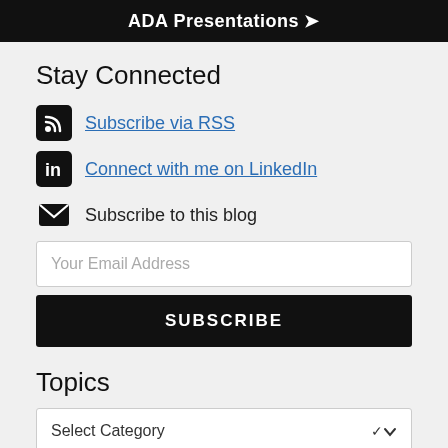ADA Presentations ❯
Stay Connected
Subscribe via RSS
Connect with me on LinkedIn
Subscribe to this blog
Your Email Address
SUBSCRIBE
Topics
Select Category
SUBMIT